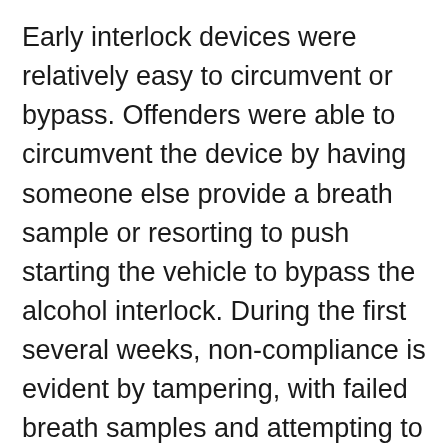Early interlock devices were relatively easy to circumvent or bypass. Offenders were able to circumvent the device by having someone else provide a breath sample or resorting to push starting the vehicle to bypass the alcohol interlock. During the first several weeks, non-compliance is evident by tampering, with failed breath samples and attempting to electronically disengage the device. Research indicates that tampering and circumvention rates decrease over time, perhaps as offenders become more accustomed to the device and gain an understanding of the difficulty and futility of trying to bypass this sophisticated technology. Research has also found that many